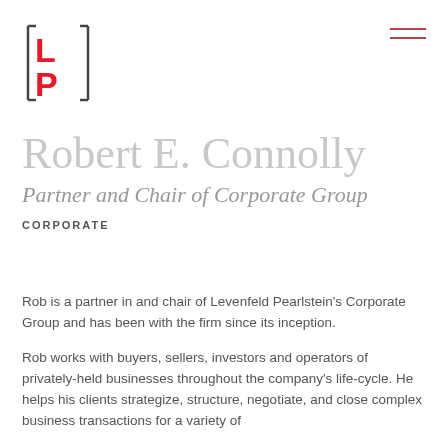[Figure (logo): Levenfeld Pearlstein LP logo — bold red L and P letters inside square bracket marks]
Robert E. Connolly
Partner and Chair of Corporate Group
CORPORATE
Rob is a partner in and chair of Levenfeld Pearlstein's Corporate Group and has been with the firm since its inception.
Rob works with buyers, sellers, investors and operators of privately-held businesses throughout the company's life-cycle. He helps his clients strategize, structure, negotiate, and close complex business transactions for a variety of